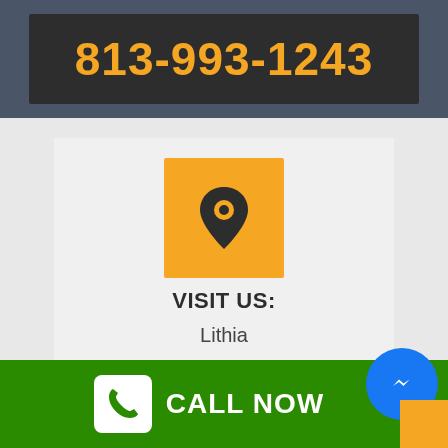813-993-1243
VISIT US:
Lithia
[Figure (infographic): Orange square icon with location pin symbol]
[Figure (infographic): Orange square icon with envelope/mail symbol]
CALL NOW
[Figure (logo): Blue circular Facebook Messenger chat bubble icon]